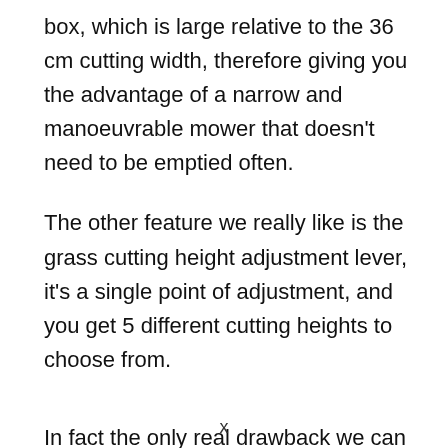box, which is large relative to the 36 cm cutting width, therefore giving you the advantage of a narrow and manoeuvrable mower that doesn't need to be emptied often.
The other feature we really like is the grass cutting height adjustment lever, it's a single point of adjustment, and you get 5 different cutting heights to choose from.
In fact the only real drawback we can find with the RLM15E36H is the slight design issue with the power cord connector, for some reason it doesn't click into
x